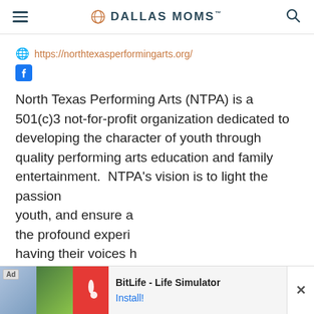DALLAS MOMS
https://northtexasperformingarts.org/
North Texas Performing Arts (NTPA) is a 501(c)3 not-for-profit organization dedicated to developing the character of youth through quality performing arts education and family entertainment. NTPA's vision is to light the passion youth, and ensure a the profound experi having their voices h
North Texas Perform 1991 as the Plano Children's Theatre and is headquartered in Plano, Texas. Its founder, Sam Akers
[Figure (screenshot): Advertisement banner for BitLife - Life Simulator app with colorful game images and Install button]